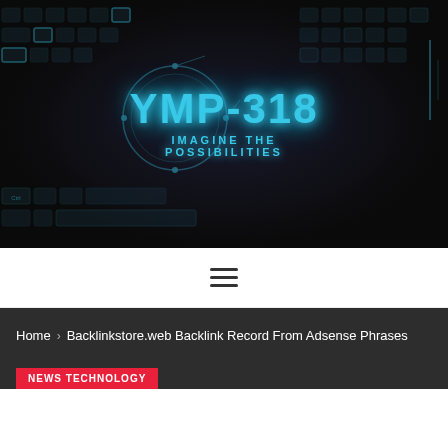[Figure (photo): Dark keyboard photo with glowing blue keys as background, overlaid with YMP-318 logo and tagline 'IMAGINE THE POSSIBILITIES' in cyan glowing text]
[Figure (other): Navigation bar with hamburger menu icon (three horizontal lines)]
Home > Backlinkstore.web Backlink Record From Adsense Phrases
NEWS TECHNOLOGY